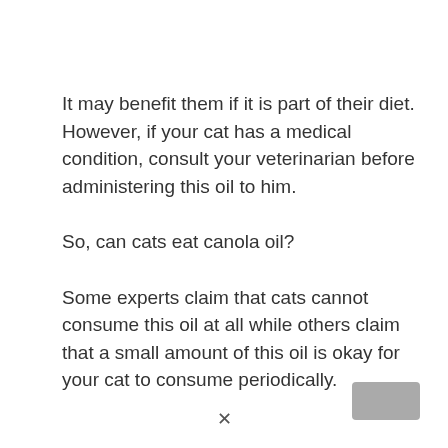It may benefit them if it is part of their diet. However, if your cat has a medical condition, consult your veterinarian before administering this oil to him.
So, can cats eat canola oil?
Some experts claim that cats cannot consume this oil at all while others claim that a small amount of this oil is okay for your cat to consume periodically.